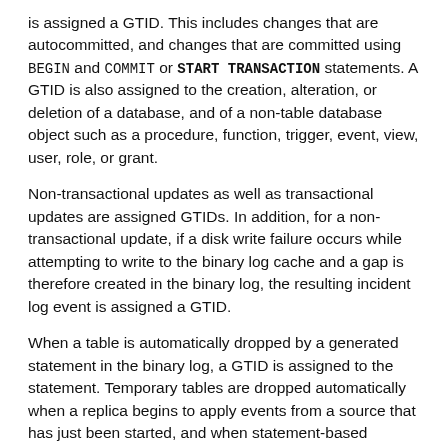is assigned a GTID. This includes changes that are autocommitted, and changes that are committed using BEGIN and COMMIT or START TRANSACTION statements. A GTID is also assigned to the creation, alteration, or deletion of a database, and of a non-table database object such as a procedure, function, trigger, event, view, user, role, or grant.
Non-transactional updates as well as transactional updates are assigned GTIDs. In addition, for a non-transactional update, if a disk write failure occurs while attempting to write to the binary log cache and a gap is therefore created in the binary log, the resulting incident log event is assigned a GTID.
When a table is automatically dropped by a generated statement in the binary log, a GTID is assigned to the statement. Temporary tables are dropped automatically when a replica begins to apply events from a source that has just been started, and when statement-based replication is in use (binlog_format=STATEMENT) and a user session that has open temporary tables disconnects. Tables that use the MEMORY storage engine are deleted automatically the first time they are accessed after the server is started, because rows might have been lost during the shutdown.